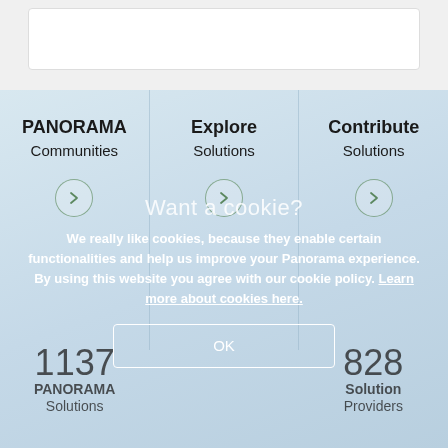[Figure (screenshot): Top section with white search/input box on gray background]
PANORAMA
Communities
Explore
Solutions
Contribute
Solutions
Want a cookie?
We really like cookies, because they enable certain functionalities and help us improve your Panorama experience. By using this website you agree with our cookie policy. Learn more about cookies here.
1137
PANORAMA Solutions
828
Solution Providers
OK